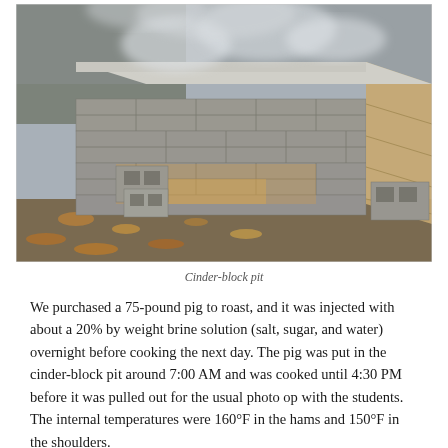[Figure (photo): Photograph of a cinder-block pit barbecue smoker. The structure is built from grey concrete blocks arranged in a rectangular formation. Steam or smoke rises from the top. A few loose cinder blocks are visible at the front and right side. The ground shows fallen leaves and dirt. The scene is outdoors in a wooded area.]
Cinder-block pit
We purchased a 75-pound pig to roast, and it was injected with about a 20% by weight brine solution (salt, sugar, and water) overnight before cooking the next day. The pig was put in the cinder-block pit around 7:00 AM and was cooked until 4:30 PM before it was pulled out for the usual photo op with the students. The internal temperatures were 160°F in the hams and 150°F in the shoulders.